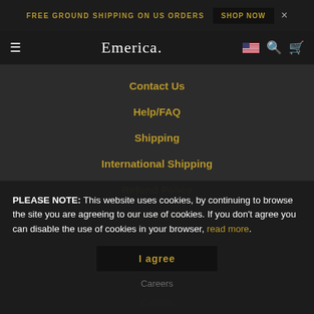FREE GROUND SHIPPING ON US ORDERS  SHOP NOW  ×
Emerica.
Contact Us
Help/FAQ
Shipping
International Shipping
Refund Policy
Size Guide
PLEASE NOTE: This website uses cookies, by continuing to browse the site you are agreeing to our use of cookies. If you don't agree you can disable the use of cookies in your browser, read more.
Cookie Link
I agree
Careers